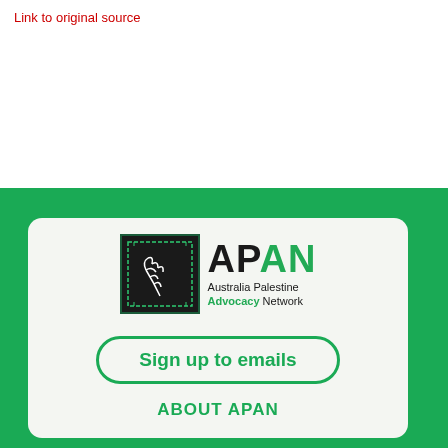Link to original source
[Figure (logo): APAN - Australia Palestine Advocacy Network logo with olive branch icon in a dark square, with 'APAN' in large text and 'Australia Palestine Advocacy Network' below]
Sign up to emails
ABOUT APAN